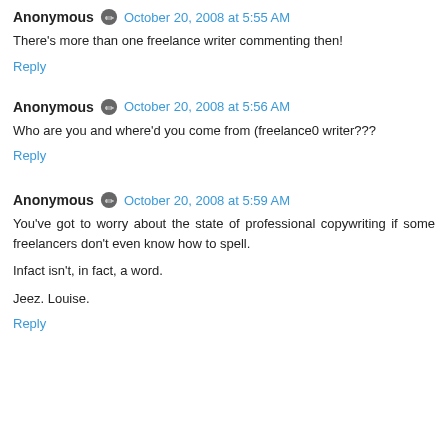Anonymous · October 20, 2008 at 5:55 AM
There's more than one freelance writer commenting then!
Reply
Anonymous · October 20, 2008 at 5:56 AM
Who are you and where'd you come from (freelance0 writer???
Reply
Anonymous · October 20, 2008 at 5:59 AM
You've got to worry about the state of professional copywriting if some freelancers don't even know how to spell.

Infact isn't, in fact, a word.

Jeez. Louise.
Reply